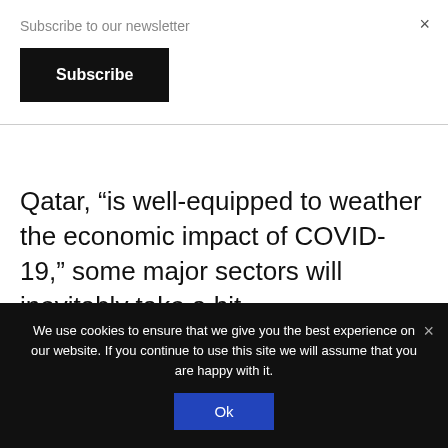Subscribe to our newsletter
Subscribe
×
Qatar, “is well-equipped to weather the economic impact of COVID-19,” some major sectors will inevitably take a hit.
Qatar Airways announced this week that
We use cookies to ensure that we give you the best experience on our website. If you continue to use this site we will assume that you are happy with it.
Ok
×